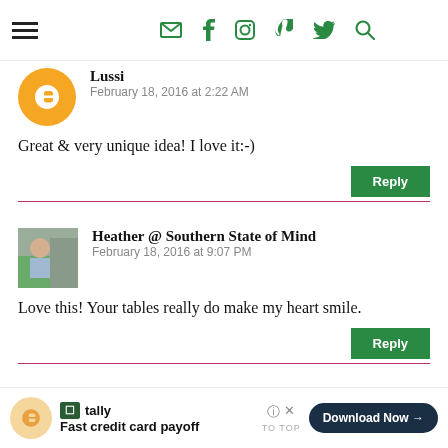Navigation bar with hamburger menu and social icons: email, facebook, instagram, pinterest, twitter, search
Lussi
February 18, 2016 at 2:22 AM

Great & very unique idea! I love it:-)
Heather @ Southern State of Mind
February 18, 2016 at 9:07 PM

Love this! Your tables really do make my heart smile.
Tally — Fast credit card payoff — Download Now